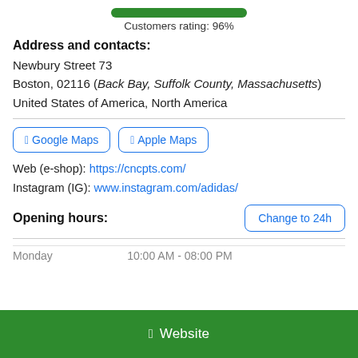[Figure (infographic): Green progress bar indicating 96% customer rating]
Customers rating: 96%
Address and contacts:
Newbury Street 73
Boston, 02116 (Back Bay, Suffolk County, Massachusetts)
United States of America, North America
[Figure (infographic): Two map link buttons: Google Maps and Apple Maps]
Web (e-shop): https://cncpts.com/
Instagram (IG): www.instagram.com/adidas/
Opening hours:
Change to 24h
Monday  10:00 AM - 08:00 PM
Website